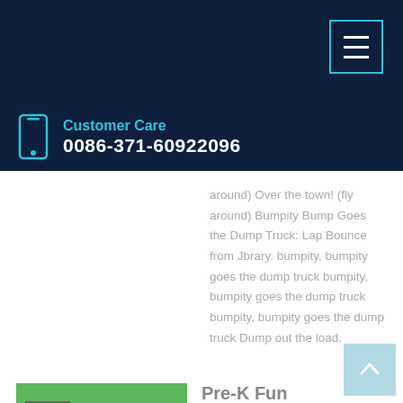Customer Care 0086-371-60922096
around) Over the town! (fly around) Bumpity Bump Goes the Dump Truck: Lap Bounce from Jbrary. bumpity, bumpity goes the dump truck bumpity, bumpity goes the dump truck bumpity, bumpity goes the dump truck Dump out the load.
Learn More
Pre-K Fun
Dump the dirt into the truck. Dump